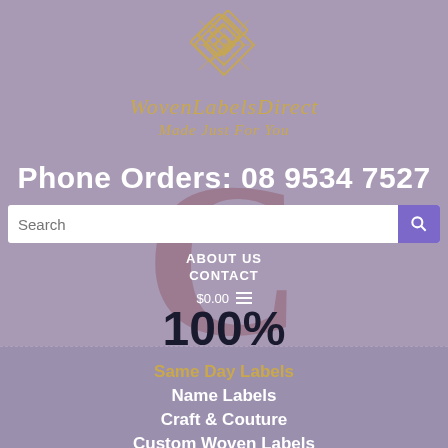[Figure (logo): WovenLabelsDirect logo with woven diamond/knot pattern icon in gold and brand name in italic gold serif font with tagline 'Made Just For You']
Phone Orders: 08 9534 7527
[Figure (screenshot): Search bar with placeholder text 'Search' and a purple search button with magnifying glass icon]
ABOUT US
CONTACT
$0.00
100%
Same Day Labels
Name Labels
Craft & Couture
Custom Woven Labels
Printed Labels & Accessories
Garment/Care Labels
Personalised Gifts